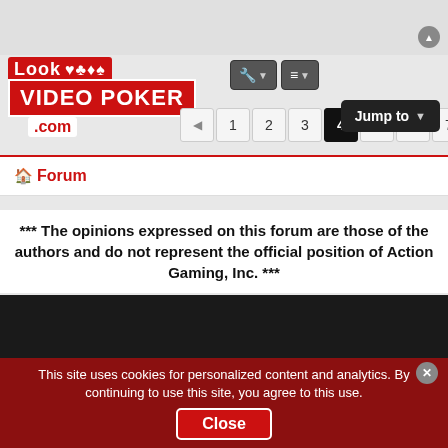[Figure (logo): LooK Video Poker .com website logo in red with card suit symbols]
[Figure (screenshot): Toolbar buttons with wrench/settings and sort icons with dropdown arrows]
[Figure (screenshot): Pagination bar showing pages 1 2 3 4(active) 5 6 7 with prev/next arrows]
[Figure (screenshot): Jump to dropdown button]
Forum
*** The opinions expressed on this forum are those of the authors and do not represent the official position of Action Gaming, Inc. ***
[Figure (screenshot): Dark/black video embed area]
[Figure (screenshot): Advertisement: Doctors Stunned: This Removes Wrinkles, n/a]
This site uses cookies for personalized content and analytics. By continuing to use this site, you agree to this use.